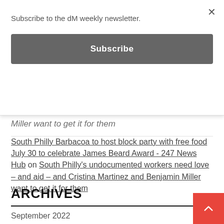×
Subscribe to the dM weekly newsletter.
Subscribe
Miller want to get it for them
South Philly Barbacoa to host block party with free food July 30 to celebrate James Beard Award - 247 News Hub on South Philly's undocumented workers need love – and aid – and Cristina Martinez and Benjamin Miller want to get it for them
ARCHIVES
September 2022